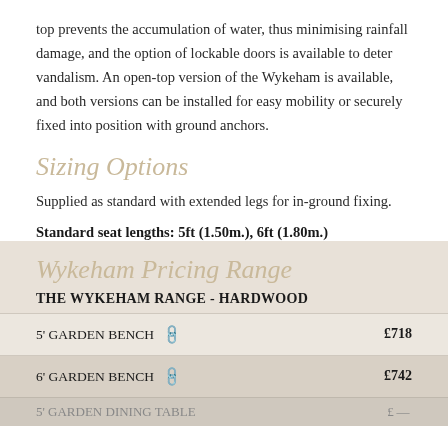top prevents the accumulation of water, thus minimising rainfall damage, and the option of lockable doors is available to deter vandalism. An open-top version of the Wykeham is available, and both versions can be installed for easy mobility or securely fixed into position with ground anchors.
Sizing Options
Supplied as standard with extended legs for in-ground fixing.
Standard seat lengths: 5ft (1.50m.), 6ft (1.80m.)
Wykeham Pricing Range
THE WYKEHAM RANGE - HARDWOOD
| Product |  | Price |
| --- | --- | --- |
| 5' GARDEN BENCH | 🔗 | £718 |
| 6' GARDEN BENCH | 🔗 | £742 |